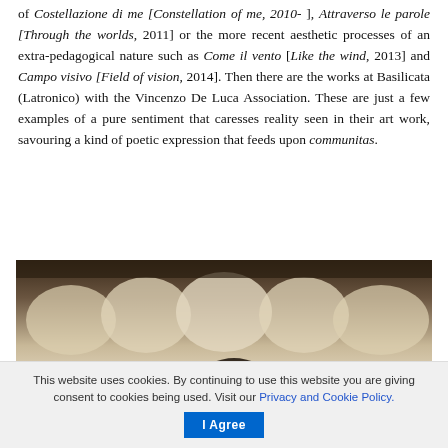of Costellazione di me [Constellation of me, 2010- ], Attraverso le parole [Through the worlds, 2011] or the more recent aesthetic processes of an extra-pedagogical nature such as Come il vento [Like the wind, 2013] and Campo visivo [Field of vision, 2014]. Then there are the works at Basilicata (Latronico) with the Vincenzo De Luca Association. These are just a few examples of a pure sentiment that caresses reality seen in their art work, savouring a kind of poetic expression that feeds upon communitas.
[Figure (photo): Interior architectural photograph showing a series of arched colonnades with white vaulted ceilings, viewed from below at an angle. The arches are supported by dark columns with ornate capitals. The image has a warm sepia/brown tone.]
This website uses cookies. By continuing to use this website you are giving consent to cookies being used. Visit our Privacy and Cookie Policy. I Agree